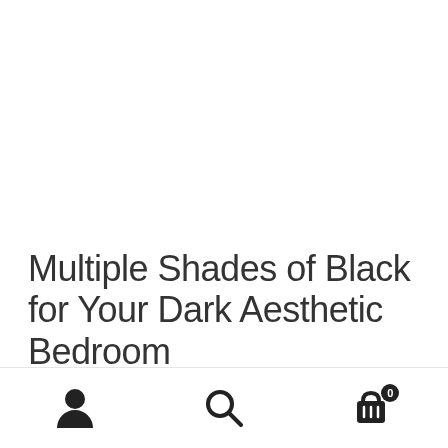Multiple Shades of Black for Your Dark Aesthetic Bedroom
You want to try mixing varying shades of black to get the most elegance out for your dark room aesthetic bedroom
[Figure (other): Bottom navigation bar with user/account icon, search icon, and shopping cart icon with badge showing 0]